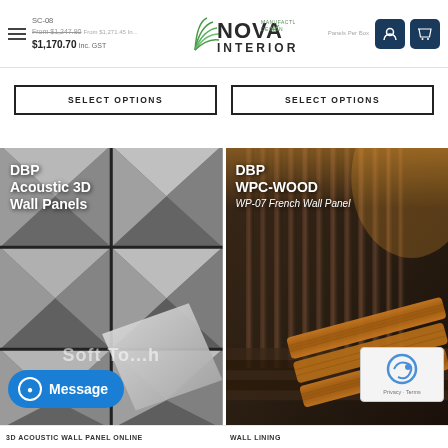Nova Interior - SC-08, From $1,247.80, From $1,271.45 Inc., $1,170.70 Inc. GST
SELECT OPTIONS
SELECT OPTIONS
[Figure (photo): DBP Acoustic 3D Wall Panels - silver/metallic 3D geometric wall panel tiles with one panel removed showing detail]
[Figure (photo): DBP WPC-WOOD WP-07 French Wall Panel - dark interior room with vertical wood slatted wall panels and warm lighting, with brown WPC wood panel samples in foreground]
3D ACOUSTIC WALL PANEL ONLINE
WALL LINING